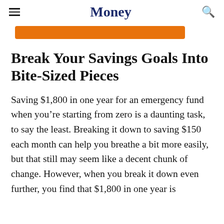Money
Break Your Savings Goals Into Bite-Sized Pieces
Saving $1,800 in one year for an emergency fund when you’re starting from zero is a daunting task, to say the least. Breaking it down to saving $150 each month can help you breathe a bit more easily, but that still may seem like a decent chunk of change. However, when you break it down even further, you find that $1,800 in one year is